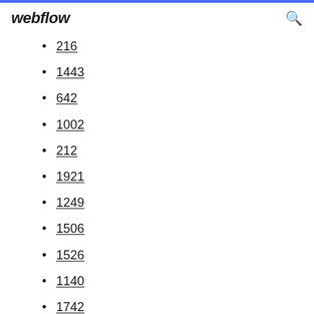webflow
216
1443
642
1002
212
1921
1249
1506
1526
1140
1742
1517
548